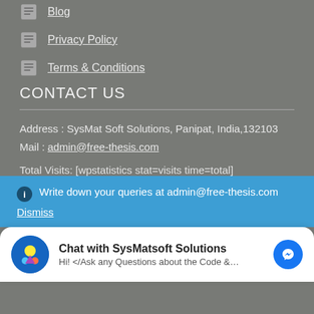Blog
Privacy Policy
Terms & Conditions
CONTACT US
Address : SysMat Soft Solutions, Panipat, India,132103
Mail : admin@free-thesis.com
Total Visits: [wpstatistics stat=visits time=total]
Write down your queries at admin@free-thesis.com
Dismiss
Chat with SysMatsoft Solutions
Hi! </Ask any Questions about the Code &...